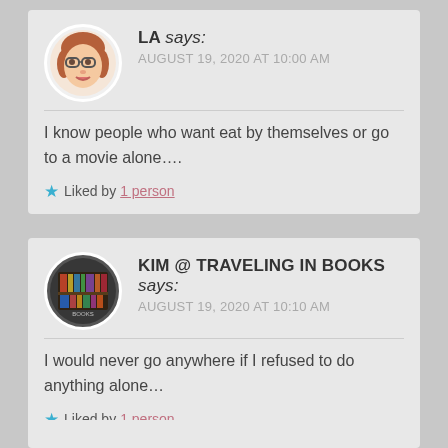LA says: AUGUST 19, 2020 AT 10:00 AM
I know people who want eat by themselves or go to a movie alone….
Liked by 1 person
KIM @ TRAVELING IN BOOKS says: AUGUST 19, 2020 AT 10:10 AM
I would never go anywhere if I refused to do anything alone…
Liked by 1 person